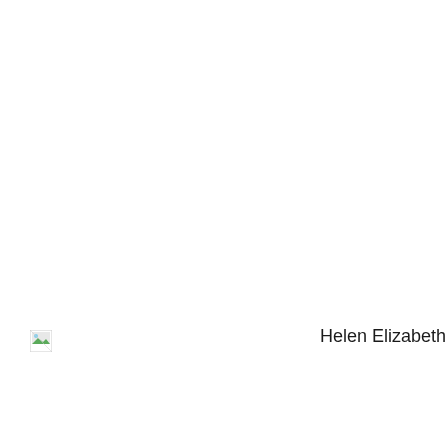[Figure (photo): Small broken/missing image icon placeholder (image failed to load), located at lower-left area of the page]
Helen Elizabeth